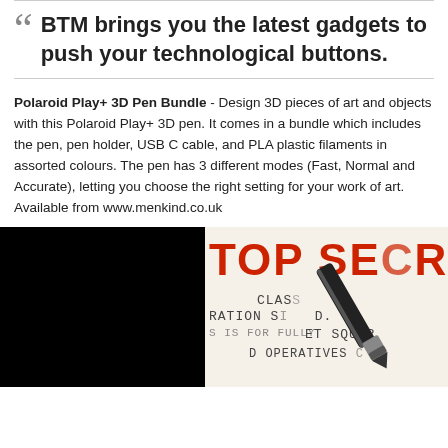BTM brings you the latest gadgets to push your technological buttons.
Polaroid Play+ 3D Pen Bundle - Design 3D pieces of art and objects with this Polaroid Play+ 3D pen. It comes in a bundle which includes the pen, pen holder, USB C cable, and PLA plastic filaments in assorted colours. The pen has 3 different modes (Fast, Normal and Accurate), letting you choose the right setting for your work of art. Available from www.menkind.co.uk
[Figure (photo): Left half: black rectangle (image). Right half: document with 'TOP SECRET CLASSIFIED' stamp text and a black pen resting on paper.]